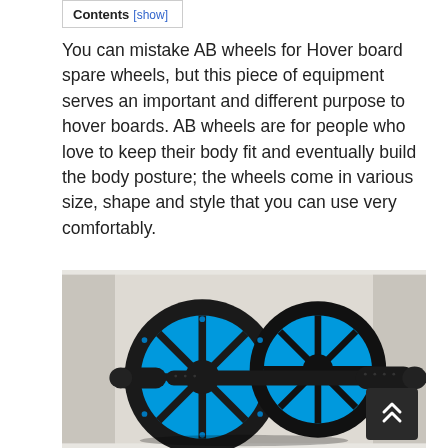Contents [show]
You can mistake AB wheels for Hover board spare wheels, but this piece of equipment serves an important and different purpose to hover boards. AB wheels are for people who love to keep their body fit and eventually build the body posture; the wheels come in various size, shape and style that you can use very comfortably.
[Figure (photo): An AB wheel exercise equipment with black rubber wheels and blue spoked rims, with a black padded handlebar running through the center axle.]